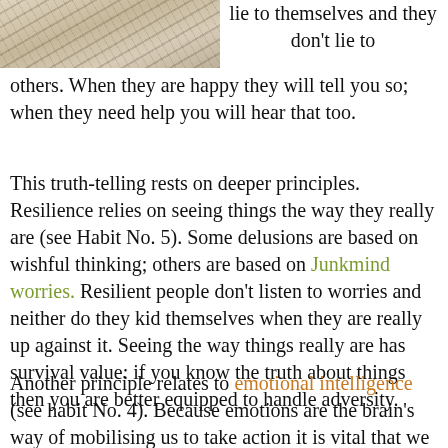[Figure (illustration): Partial illustration/manga-style drawing of a character, cropped at top-left of the page]
lie to themselves and they don't lie to others. When they are happy they will tell you so; when they need help you will hear that too.
This truth-telling rests on deeper principles. Resilience relies on seeing things the way they really are (see Habit No. 5). Some delusions are based on wishful thinking; others are based on Junkmind worries. Resilient people don't listen to worries and neither do they kid themselves when they are really up against it. Seeing the way things really are has survival value: if you know the truth about things then you are better equipped to handle adversity.
Another principle relates to emotional intelligence (see habit No. 4). Because emotions are the brain's way of mobilising us to take action it is vital that we both